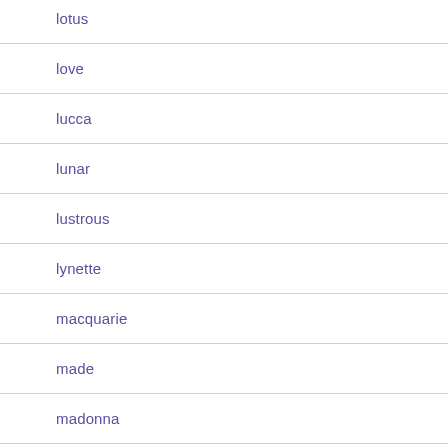lotus
love
lucca
lunar
lustrous
lynette
macquarie
made
madonna
magnificent